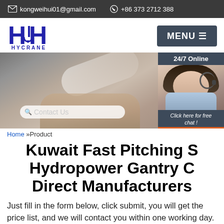kongweihui01@gmail.com   +86 373 2712 388
[Figure (logo): HYCRANE logo with stylized H-crane symbol in blue]
[Figure (screenshot): Hero banner showing hands on laptop keyboard with Contact Us search bar overlay and 24/7 Online chat widget with female customer service representative]
Home »Product
Kuwait Fast Pitching Screw Hydropower Gantry Crane Direct Manufacturers
Just fill in the form below, click submit, you will get the price list, and we will contact you within one working day. Please also feel free to contact us via email or phone. (* is required).